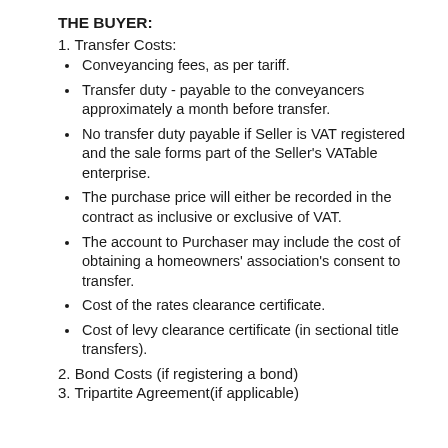THE BUYER:
1. Transfer Costs:
Conveyancing fees, as per tariff.
Transfer duty - payable to the conveyancers approximately a month before transfer.
No transfer duty payable if Seller is VAT registered and the sale forms part of the Seller's VATable enterprise.
The purchase price will either be recorded in the contract as inclusive or exclusive of VAT.
The account to Purchaser may include the cost of obtaining a homeowners' association's consent to transfer.
Cost of the rates clearance certificate.
Cost of levy clearance certificate (in sectional title transfers).
2. Bond Costs (if registering a bond)
3. Tripartite Agreement(if applicable)